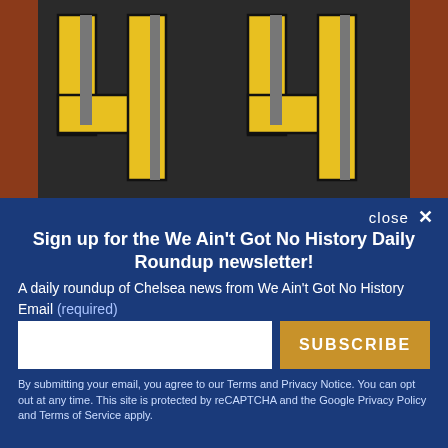[Figure (photo): Close-up photo of a dark sports jersey with large yellow number 44 printed on it, with brown/rust colored fabric visible on the sides]
close ×
Sign up for the We Ain't Got No History Daily Roundup newsletter!
A daily roundup of Chelsea news from We Ain't Got No History
Email (required)
SUBSCRIBE
By submitting your email, you agree to our Terms and Privacy Notice. You can opt out at any time. This site is protected by reCAPTCHA and the Google Privacy Policy and Terms of Service apply.